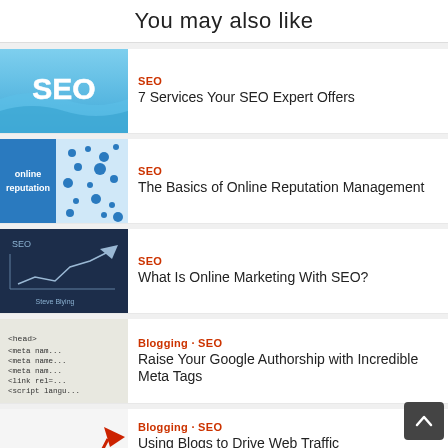You may also like
[Figure (illustration): Blue water/ocean with large white SEO text]
SEO
7 Services Your SEO Expert Offers
[Figure (illustration): Blue background with dots and text reading online reputation]
SEO
The Basics of Online Reputation Management
[Figure (illustration): Dark blue chalkboard with SEO diagram and arrow]
SEO
What Is Online Marketing With SEO?
[Figure (illustration): HTML/meta tags code printed on paper]
Blogging · SEO
Raise Your Google Authorship with Incredible Meta Tags
[Figure (illustration): Red 3D arrow pointing up with zigzag line, growth chart]
Blogging · SEO
Using Blogs to Drive Web Traffic